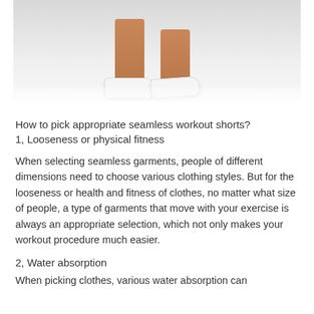[Figure (photo): Lower body of a person wearing white athletic sneakers, standing on a white reflective floor. Both legs visible from mid-thigh down, tanned skin, white shoes.]
How to pick appropriate seamless workout shorts?
1, Looseness or physical fitness
When selecting seamless garments, people of different dimensions need to choose various clothing styles. But for the looseness or health and fitness of clothes, no matter what size of people, a type of garments that move with your exercise is always an appropriate selection, which not only makes your workout procedure much easier.
2, Water absorption
When picking clothes, various water absorption can